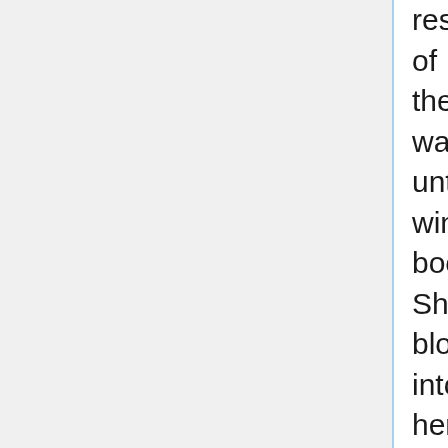rest of the way unto winter boots. She blows into her gloved hands once then rubs them. The gloves look like gardener's gloves. "So! Remember that night with that witch at the hospital?" Eri of course figures that Mikoto wouldn't forget, but she had to say it anyhow. "On the way to the hospital- we encountered these familiars harassing a kitten. We didn't have really have any time to spare... but she saved her anyhow. Tucked her away into a safe place before we moved on."
She gives the girl beside her an affectionate look, "And later while I was clearing out my territory- I heard this little mewing- and there she was- huddled down in the same spot. All alone in the world. And so I picked her up and reunited her with her savior. She named